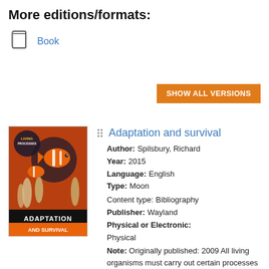More editions/formats:
Book
SHOW ALL VERSIONS
[Figure (photo): Book cover of 'Adaptation and Survival' from the Living Processes series, featuring a clownfish among sea anemones]
Adaptation and survival
Author: Spilsbury, Richard
Year: 2015
Language: English
Type: Moon
Content type: Bibliography
Publisher: Wayland
Physical or Electronic: Physical
Note: Originally published: 2009 All living organisms must carry out certain processes in order to stay alive. 'Living Processes' looks at what these key functions are, from feeding